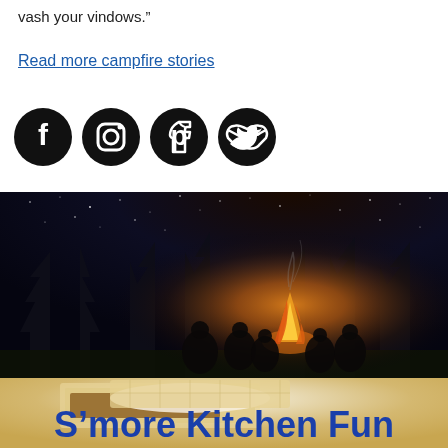vash your vindows.”
Read more campfire stories
[Figure (other): Social media icons: Facebook, Instagram, Pinterest, Twitter (black circles with white icons)]
[Figure (photo): Night photo of people sitting around a large campfire with tall trees and starry sky in background]
[Figure (photo): Close-up photo of s'mores (graham crackers with melted chocolate and marshmallow)]
S’more Kitchen Fun